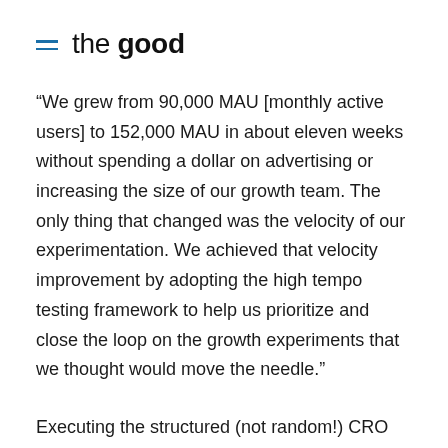= the good
“We grew from 90,000 MAU [monthly active users] to 152,000 MAU in about eleven weeks without spending a dollar on advertising or increasing the size of our growth team. The only thing that changed was the velocity of our experimentation. We achieved that velocity improvement by adopting the high tempo testing framework to help us prioritize and close the loop on the growth experiments that we thought would move the needle.”
Executing the structured (not random!) CRO process rapidly will lead to quick growth. However, performing more tests in a short amount of time